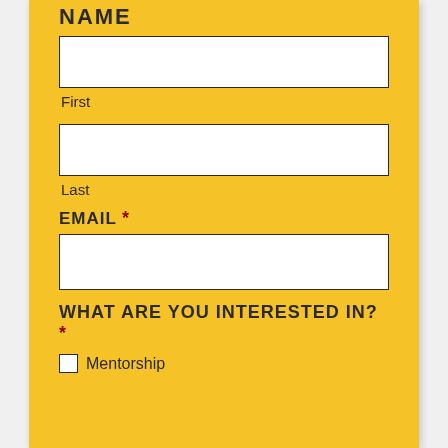NAME
[Figure (other): First name text input field (empty white box)]
First
[Figure (other): Last name text input field (empty white box)]
Last
EMAIL *
[Figure (other): Email text input field (empty white box)]
WHAT ARE YOU INTERESTED IN? *
Mentorship